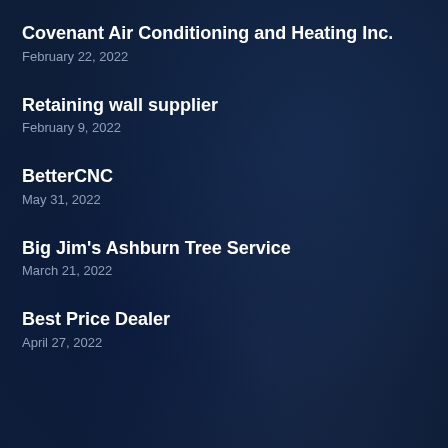Covenant Air Conditioning and Heating Inc.
February 22, 2022
Retaining wall supplier
February 9, 2022
BetterCNC
May 31, 2022
Big Jim's Ashburn Tree Service
March 21, 2022
Best Price Dealer
April 27, 2022